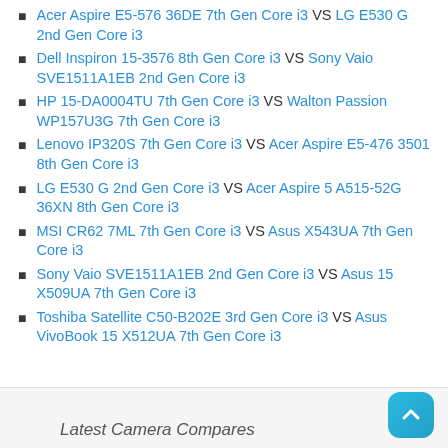Acer Aspire E5-576 36DE 7th Gen Core i3 VS LG E530 G 2nd Gen Core i3
Dell Inspiron 15-3576 8th Gen Core i3 VS Sony Vaio SVE1511A1EB 2nd Gen Core i3
HP 15-DA0004TU 7th Gen Core i3 VS Walton Passion WP157U3G 7th Gen Core i3
Lenovo IP320S 7th Gen Core i3 VS Acer Aspire E5-476 3501 8th Gen Core i3
LG E530 G 2nd Gen Core i3 VS Acer Aspire 5 A515-52G 36XN 8th Gen Core i3
MSI CR62 7ML 7th Gen Core i3 VS Asus X543UA 7th Gen Core i3
Sony Vaio SVE1511A1EB 2nd Gen Core i3 VS Asus 15 X509UA 7th Gen Core i3
Toshiba Satellite C50-B202E 3rd Gen Core i3 VS Asus VivoBook 15 X512UA 7th Gen Core i3
Latest Camera Compares